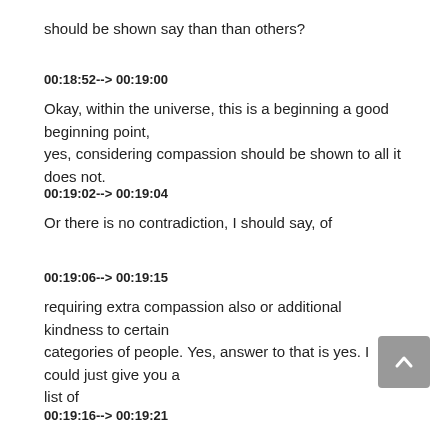should be shown say than than others?
00:18:52--> 00:19:00
Okay, within the universe, this is a beginning a good beginning point, yes, considering compassion should be shown to all it does not.
00:19:02--> 00:19:04
Or there is no contradiction, I should say, of
00:19:06--> 00:19:15
requiring extra compassion also or additional kindness to certain categories of people. Yes, answer to that is yes. I could just give you a list of
00:19:16--> 00:19:21